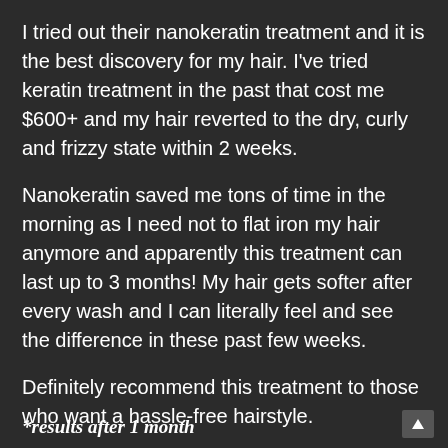I tried out their nanokeratin treatment and it is the best discovery for my hair. I've tried keratin treatment in the past that cost me $600+ and my hair reverted to the dry, curly and frizzy state within 2 weeks.
Nanokeratin saved me tons of time in the morning as I need not to flat iron my hair anymore and apparently this treatment can last up to 3 months! My hair gets softer after every wash and I can literally feel and see the difference in these past few weeks.
Definitely recommend this treatment to those who want a hassle-free hairstyle.
— Twinkle
*results after 1 month